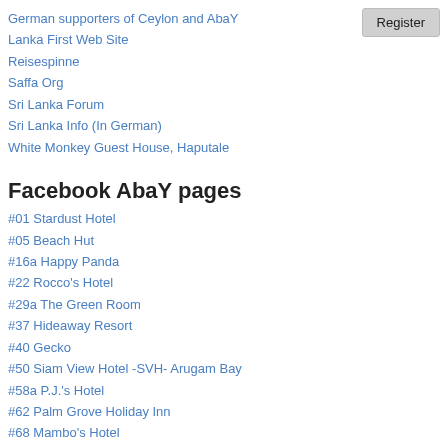German supporters of Ceylon and AbaY
Lanka First Web Site
Reisespinne
Saffa Org
Sri Lanka Forum
Sri Lanka Info (In German)
White Monkey Guest House, Haputale
Facebook AbaY pages
#01 Stardust Hotel
#05 Beach Hut
#16a Happy Panda
#22 Rocco's Hotel
#29a The Green Room
#37 Hideaway Resort
#40 Gecko
#50 Siam View Hotel -SVH- Arugam Bay
#58a P.J.'s Hotel
#62 Palm Grove Holiday Inn
#68 Mambo's Hotel
#69 East Surf Cabanas
Arugam Bay Beer
Arugam's Pages on Facebook
Friends
Andrea Quintarelli in AbaY
Register